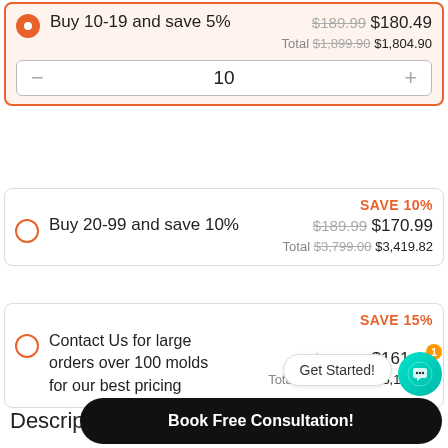Buy 10-19 and save 5% — $189.99 (strikethrough) $180.49, Total $1,899.90 (strikethrough) $1,804.90
10 (quantity stepper)
SAVE 10% — Buy 20-99 and save 10% — $189.99 (strikethrough) $170.99, Total $3,799.00 (strikethrough) $3,419.82
SAVE 15% — Contact Us for large orders over 100 molds for our best pricing — $189.99 (strikethrough) $161.49, Total $18,999.00 (strikethrough) $16,149.15
Get Started!
Book Free Consultation!
Description